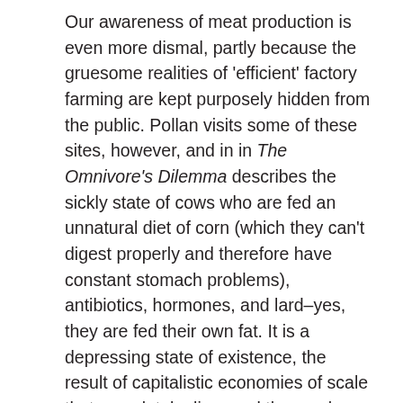Our awareness of meat production is even more dismal, partly because the gruesome realities of 'efficient' factory farming are kept purposely hidden from the public. Pollan visits some of these sites, however, and in in The Omnivore's Dilemma describes the sickly state of cows who are fed an unnatural diet of corn (which they can't digest properly and therefore have constant stomach problems), antibiotics, hormones, and lard–yes, they are fed their own fat. It is a depressing state of existence, the result of capitalistic economies of scale that completely disregard the much more balanced and healthy processes and scales developed by nature. The cows are unhealthy, the people that eat the cows are unhealthy, and the land that sustains them all becomes contaminated.
Yet there exist tiny pockets of resistance to the